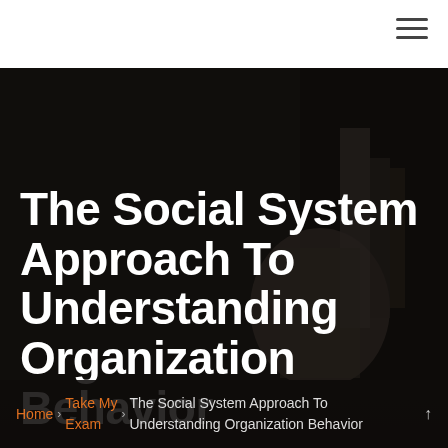≡
[Figure (photo): Dark industrial background image showing shadowy mechanical/architectural elements, used as a hero banner behind the page title]
The Social System Approach To Understanding Organization Behavior
Home › Take My Exam › The Social System Approach To Understanding Organization Behavior